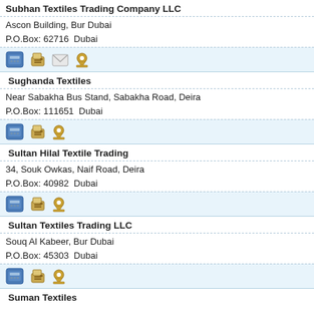Subhan Textiles Trading Company LLC
Ascon Building, Bur Dubai
P.O.Box: 62716  Dubai
[Figure (infographic): Row of contact icons: phone, fax, email, map pin]
Sughanda Textiles
Near Sabakha Bus Stand, Sabakha Road, Deira
P.O.Box: 111651  Dubai
[Figure (infographic): Row of contact icons: phone, fax, map pin]
Sultan Hilal Textile Trading
34, Souk Owkas, Naif Road, Deira
P.O.Box: 40982  Dubai
[Figure (infographic): Row of contact icons: phone, fax, map pin]
Sultan Textiles Trading LLC
Souq Al Kabeer, Bur Dubai
P.O.Box: 45303  Dubai
[Figure (infographic): Row of contact icons: phone, fax, map pin]
Suman Textiles